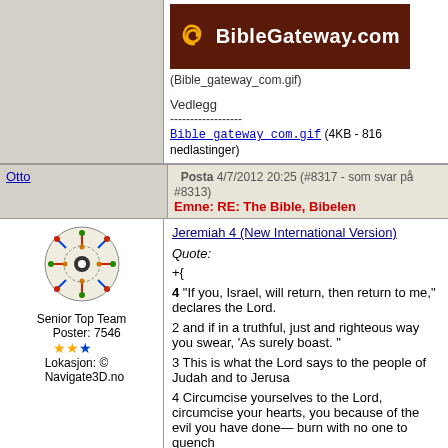[Figure (logo): BibleGateway.com logo banner on dark brown/maroon background with orange spiral icon]
(Bible_gateway_com.gif)
Vedlegg
------------------
Bible_gateway_com.gif (4KB - 816 nedlastinger)
Posta 4/7/2012 20:25 (#8317 - som svar på #8313)
Emne: RE: The Bible, Bibelen
Otto
[Figure (illustration): User avatar - decorative circular folk art design with figures]
Senior Top Team
Poster: 7546
Lokasjon: © Navigate3D.no
Jeremiah 4 (New International Version)

Quote:

+{

4 "If you, Israel, will return, then return to me," declares the Lord.

2 and if in a truthful, just and righteous way you swear, 'As surely boast.'

3 This is what the Lord says to the people of Judah and to Jerusa

4 Circumcise yourselves to the Lord, circumcise your hearts, you because of the evil you have done— burn with no one to quench